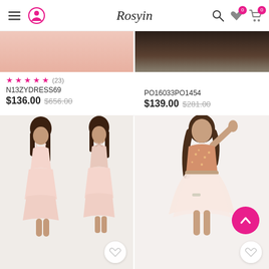Rosyin
[Figure (photo): Partial product image top left - pink dress]
[Figure (photo): Partial product image top right - dark background dress]
★★★★★ (23)
N13ZYDRESS69
$136.00 $656.00
PO16033PO1454
$139.00 $281.00
[Figure (photo): Pink layered short dress - front and back views on models]
[Figure (photo): Pink sequin top tulle skirt short dress on model]
★★★★★ (1)
★★★★☆ (3)